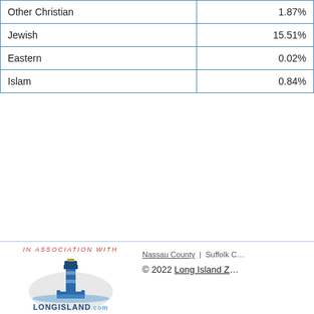| Other Christian | 1.87% |
| Jewish | 15.51% |
| Eastern | 0.02% |
| Islam | 0.84% |
[Figure (logo): LongIsland.com logo with lighthouse illustration and 'In Association With' text above]
Nassau County | Suffolk C... © 2022 Long Island Z...